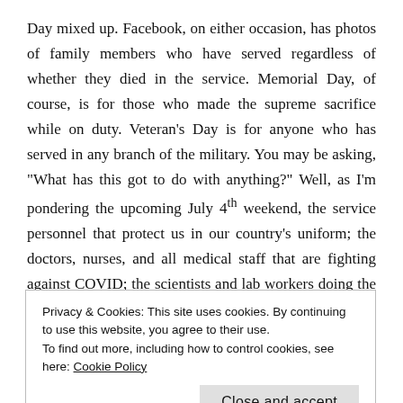Day mixed up. Facebook, on either occasion, has photos of family members who have served regardless of whether they died in the service. Memorial Day, of course, is for those who made the supreme sacrifice while on duty. Veteran's Day is for anyone who has served in any branch of the military. You may be asking, "What has this got to do with anything?" Well, as I'm pondering the upcoming July 4th weekend, the service personnel that protect us in our country's uniform; the doctors, nurses, and all medical staff that are fighting against COVID; the scientists and lab workers doing the grunt work of coming up with a vaccine and those willing to be guinea pigs for the common good, and lots of others strike me as being "in the
Privacy & Cookies: This site uses cookies. By continuing to use this website, you agree to their use.
To find out more, including how to control cookies, see here: Cookie Policy
Close and accept
EMT's, volunteer and professional firefighters, and anyone in